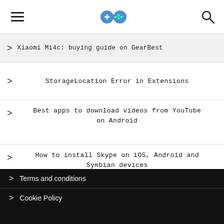[hamburger menu] [gamepad logo] [search icon]
Xiaomi Mi4c: buying guide on GearBest
StorageLocation Error in Extensions
Best apps to download videos from YouTube on Android
How to install Skype on iOS, Android and Symbian devices
What is a sitemap and when to use it
Terms and conditions
Cookie Policy